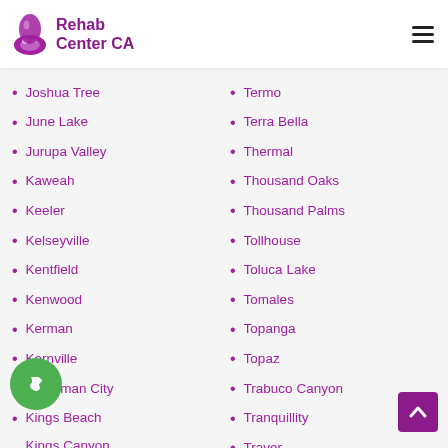Rehab Center CA
Joshua Tree
June Lake
Jurupa Valley
Kaweah
Keeler
Kelseyville
Kentfield
Kenwood
Kerman
Kernville
Kettleman City
Kings Beach
Kings Canyon National Pk
Termo
Terra Bella
Thermal
Thousand Oaks
Thousand Palms
Tollhouse
Toluca Lake
Tomales
Topanga
Topaz
Trabuco Canyon
Tranquillity
Traver
Travis AFB